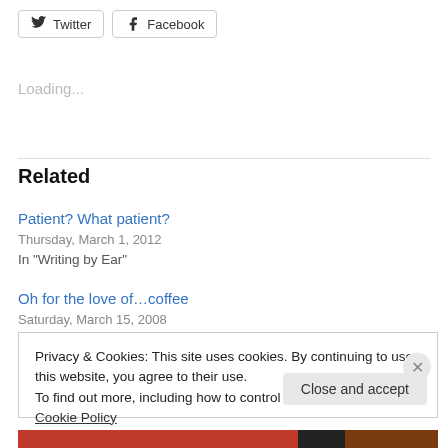[Figure (other): Twitter and Facebook social share buttons]
Loading...
Related
Patient? What patient?
Thursday, March 1, 2012
In "Writing by Ear"
Oh for the love of…coffee
Saturday, March 15, 2008
Privacy & Cookies: This site uses cookies. By continuing to use this website, you agree to their use.
To find out more, including how to control cookies, see here: Cookie Policy
Close and accept